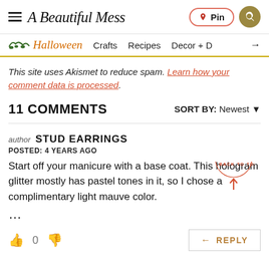A Beautiful Mess — Pin | Search
Halloween | Crafts | Recipes | Decor +
This site uses Akismet to reduce spam. Learn how your comment data is processed.
11 COMMENTS   SORT BY: Newest
author STUD EARRINGS
POSTED: 4 YEARS AGO
Start off your manicure with a base coat. This hologram glitter mostly has pastel tones in it, so I chose a complimentary light mauve color.
...
REPLY